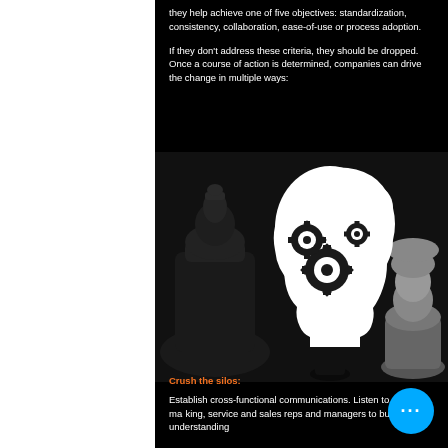they help achieve one of five objectives: standardization, consistency, collaboration, ease-of-use or process adoption.
If they don't address these criteria, they should be dropped. Once a course of action is determined, companies can drive the change in multiple ways:
[Figure (illustration): A white silhouette of a human head profile facing right with black gears/cogs inside the brain area, set against a dark background with chess pieces (pawns and other pieces) in the background.]
Crush the silos: Establish cross-functional communications. Listen to marketing, service and sales reps and managers to build understanding